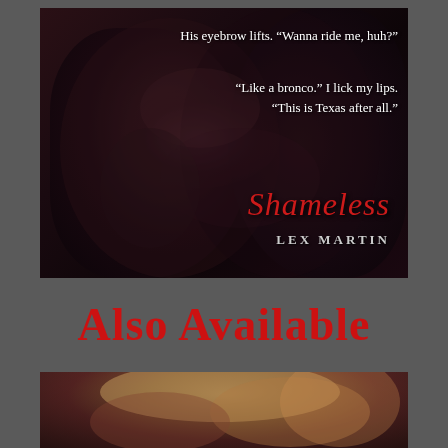[Figure (illustration): Book cover for 'Shameless' by Lex Martin showing two figures in an intimate pose against a dark background, with quotes from the book and the title in red italic script]
His eyebrow lifts. “Wanna ride me, huh?”
“Like a bronco.” I lick my lips. “This is Texas after all.”
Shameless
LEX MARTIN
Also Available
[Figure (illustration): Bottom portion of another book cover showing a blonde woman and a man in close proximity, warm golden tones]